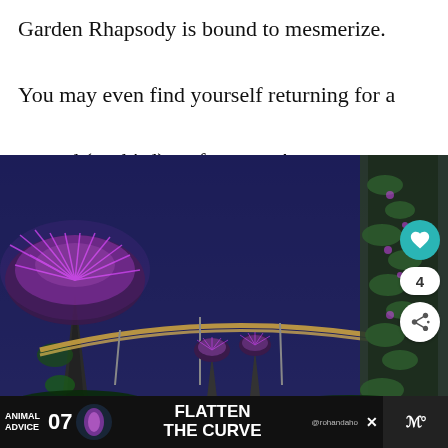Garden Rhapsody is bound to mesmerize. You may even find yourself returning for a second (or third) performance!
[Figure (photo): Night photo of Gardens by the Bay, Singapore, showing illuminated Supertree Grove structures with pink/purple lighting, a curved walkway bridge, and dark blue sky background]
WHAT'S NEXT → Best Things to Do in...
ANIMAL ADVICE 07 FLATTEN THE CURVE @rohandaho